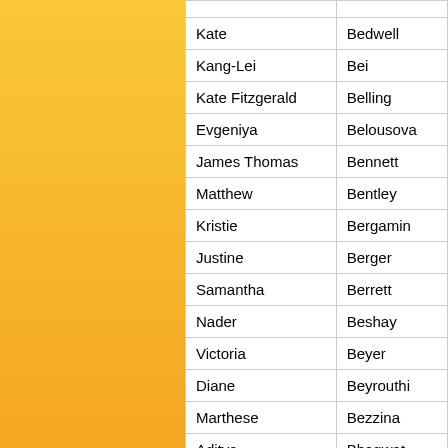| First Name | Last Name |
| --- | --- |
| Kate | Bedwell |
| Kang-Lei | Bei |
| Kate Fitzgerald | Belling |
| Evgeniya | Belousova |
| James Thomas | Bennett |
| Matthew | Bentley |
| Kristie | Bergamin |
| Justine | Berger |
| Samantha | Berrett |
| Nader | Beshay |
| Victoria | Beyer |
| Diane | Beyrouthi |
| Marthese | Bezzina |
| Aditya | Bhagwat |
| Pranav | Bhatt |
| Anam | Bilgrami |
| Catherine | Bills |